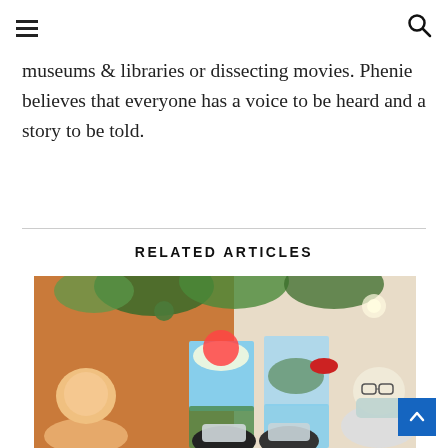[hamburger menu icon] [search icon]
museums & libraries or dissecting movies. Phenie believes that everyone has a voice to be heard and a story to be told.
RELATED ARTICLES
[Figure (photo): Group of women holding up their paintings, which depict a figure with a red umbrella in a green landscape. The setting appears to be an art class or workshop with plants hanging from the ceiling.]